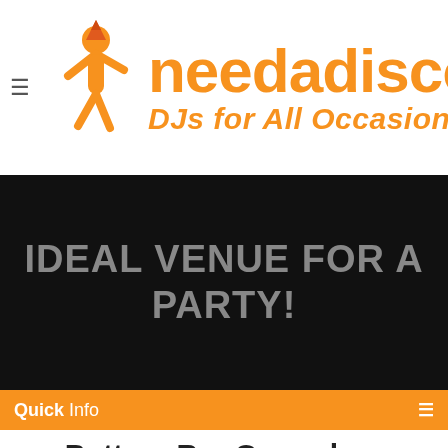[Figure (logo): needadisco logo with orange figure and text 'needadisco DJs for All Occasions']
[Figure (photo): Dark/black hero banner with text 'IDEAL VENUE FOR A PARTY!' in grey uppercase letters]
Quick Info
Potters Bar Crusaders